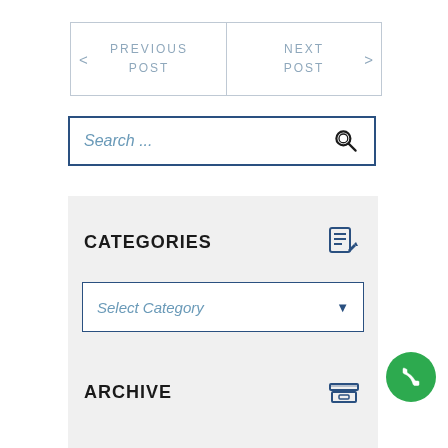PREVIOUS POST
NEXT POST
Search ...
CATEGORIES
Select Category
ARCHIVE